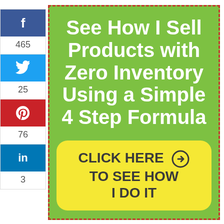[Figure (infographic): Social share sidebar with Facebook (465), Twitter (25), Pinterest (76), LinkedIn (3) counts, next to a green promotional box reading 'See How I Sell Products with Zero Inventory Using a Simple 4 Step Formula' with a yellow CTA button 'CLICK HERE → TO SEE HOW I DO IT']